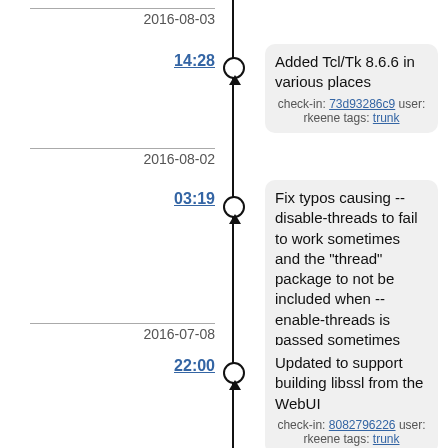2016-08-03
14:28
Added Tcl/Tk 8.6.6 in various places
check-in: 73d93286c9 user: rkeene tags: trunk
2016-08-02
03:19
Fix typos causing --disable-threads to fail to work sometimes and the "thread" package to not be included when --enable-threads is passed sometimes
check-in: b7219bed1a user: rkeene tags: trunk
2016-07-08
22:00
Updated to support building libssl from the WebUI
check-in: 8082796226 user: rkeene tags: trunk
21:56
Updated to try to use pkg-config to determine additional libraries for libssl
check-in: 8edfc5151b user: rkeene tags: trunk
21:36
Disable SSLv3 from our TclTLS builds -- newer versions of LibSSL no longer support it